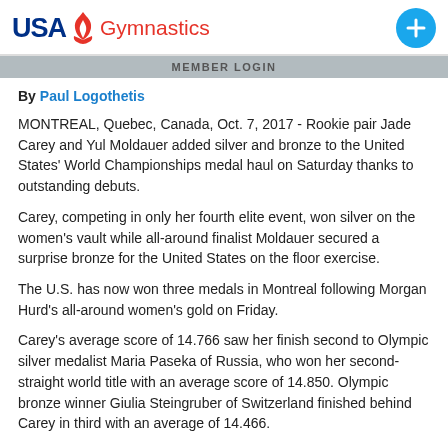USA Gymnastics | MEMBER LOGIN
By Paul Logothetis
MONTREAL, Quebec, Canada, Oct. 7, 2017 - Rookie pair Jade Carey and Yul Moldauer added silver and bronze to the United States' World Championships medal haul on Saturday thanks to outstanding debuts.
Carey, competing in only her fourth elite event, won silver on the women's vault while all-around finalist Moldauer secured a surprise bronze for the United States on the floor exercise.
The U.S. has now won three medals in Montreal following Morgan Hurd's all-around women's gold on Friday.
Carey's average score of 14.766 saw her finish second to Olympic silver medalist Maria Paseka of Russia, who won her second-straight world title with an average score of 14.850. Olympic bronze winner Giulia Steingruber of Switzerland finished behind Carey in third with an average of 14.466.